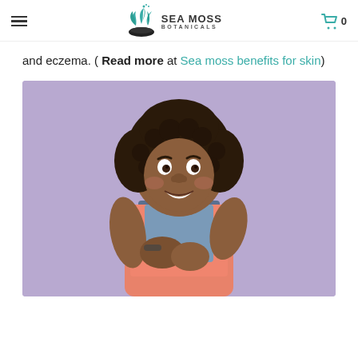Sea Moss Botanicals — navigation header with hamburger menu and cart icon showing 0
and eczema. ( Read more at Sea moss benefits for skin)
[Figure (photo): A young woman with curly hair wearing a pink t-shirt and denim overalls, scratching her arm against a purple background, appearing uncomfortable — illustrating a skin irritation condition.]